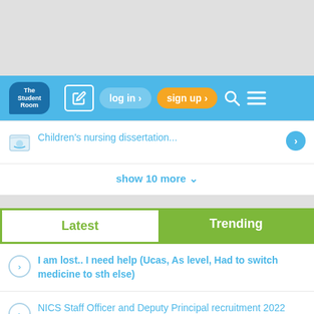[Figure (screenshot): The Student Room website navigation bar with logo, edit icon, log in button, sign up button, search and menu icons on a blue background]
Children's nursing dissertation...
show 10 more ∨
Latest | Trending tabs
I am lost.. I need help (Ucas, As level, Had to switch medicine to sth else)
NICS Staff Officer and Deputy Principal recruitment 2022
A level 2022 Results Countdown: It's here! Best of Luck! #FindYourFuture
BSc Computer Science 3 years